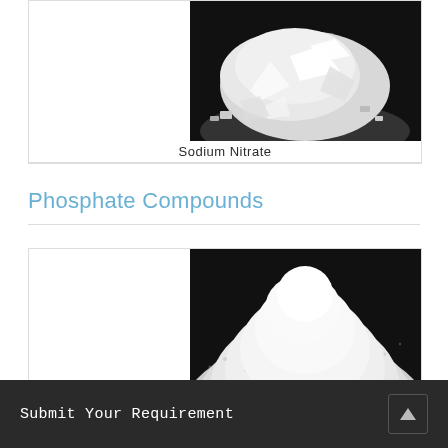[Figure (photo): Photo of Sodium Nitrate white crystalline powder/flakes on dark background, partially visible at top of card]
Sodium Nitrate
Phosphate Compounds
[Figure (photo): Photo of a white phosphate compound powder mound on dark background]
Submit Your Requirement